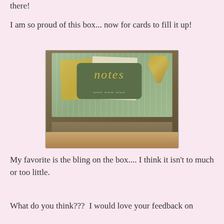there!
I am so proud of this box... now for cards to fill it up!
[Figure (photo): A decorated notes box with green striped paper covering, a tag reading 'notes' in yellow script with white swirl decoration, layered yellow and cream papers on top, and a gold ribbon tied with a small jeweled brad. The box has a brown wooden side with a metal clasp, sitting on a wooden surface.]
My favorite is the bling on the box.... I think it isn't to much or too little.
What do you think???  I would love your feedback on